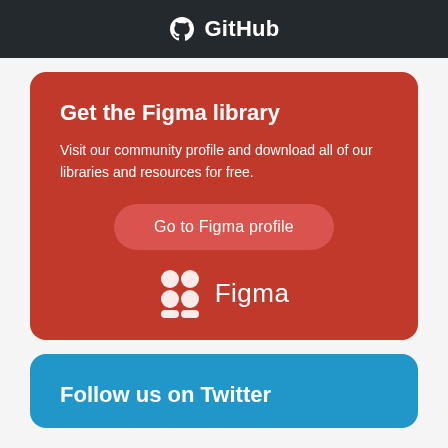[Figure (logo): GitHub logo with Octocat icon and 'GitHub' text on dark background bar]
Get the Figma library
Visit our community profile and download all of our libraries and resources for free.
Go to Figma profile
[Figure (logo): Figma logo with Figma icon and 'Figma' text in white]
Follow us on Twitter